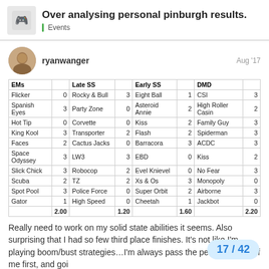Over analysing personal pinburgh results. — Events
ryanwanger — Aug '17
| EMs |  | Late SS |  | Early SS |  | DMD |  |
| --- | --- | --- | --- | --- | --- | --- | --- |
| Flicker | 0 | Rocky & Bull | 3 | Eight Ball | 1 | CSI | 3 |
| Spanish Eyes | 3 | Party Zone | 0 | Asteroid Annie | 2 | High Roller Casin | 2 |
| Hot Tip | 0 | Corvette | 0 | Kiss | 2 | Family Guy | 3 |
| King Kool | 3 | Transporter | 2 | Flash | 2 | Spiderman | 3 |
| Faces | 2 | Cactus Jacks | 0 | Barracora | 3 | ACDC | 3 |
| Space Odyssey | 3 | LW3 | 3 | EBD | 0 | Kiss | 2 |
| Slick Chick | 3 | Robocop | 2 | Evel Knievel | 0 | No Fear | 3 |
| Scuba | 2 | TZ | 2 | Xs & Os | 3 | Monopoly | 0 |
| Spot Pool | 3 | Police Force | 0 | Super Orbit | 2 | Airborne | 3 |
| Gator | 1 | High Speed | 0 | Cheetah | 1 | Jackbot | 0 |
|  | 2.00 |  | 1.20 |  | 1.60 |  | 2.20 |
Really need to work on my solid state abilities it seems. Also surprising that I had so few third place finishes. It's not like I'm playing boom/bust strategies…I'm always pass the person ahead of me first, and goi